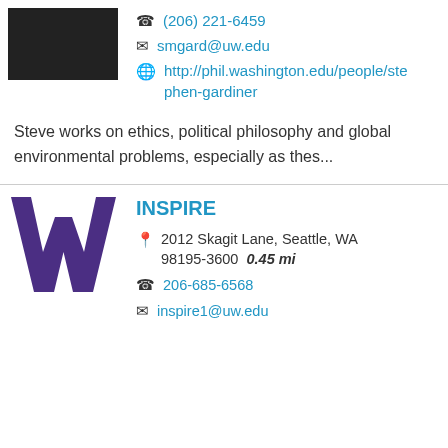[Figure (photo): Black and white portrait photo of a person]
(206) 221-6459
smgard@uw.edu
http://phil.washington.edu/people/stephen-gardiner
Steve works on ethics, political philosophy and global environmental problems, especially as thes...
[Figure (logo): University of Washington purple W logo]
INSPIRE
2012 Skagit Lane, Seattle, WA 98195-3600  0.45 mi
206-685-6568
inspire1@uw.edu